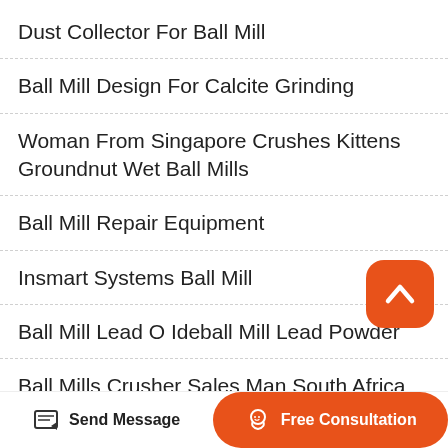Dust Collector For Ball Mill
Ball Mill Design For Calcite Grinding
Woman From Singapore Crushes Kittens Groundnut Wet Ball Mills
Ball Mill Repair Equipment
Insmart Systems Ball Mill
Ball Mill Lead O Ideball Mill Lead Powder
Ball Mills Crusher Sales Man South Africa
Mining Ball Mill Parts
[Figure (illustration): Orange rounded square button with a white upward chevron arrow (scroll-to-top button)]
[Figure (illustration): Bottom navigation bar with 'Send Message' button (pencil/edit icon) on left and orange 'Free Consultation' button with headset icon on right]